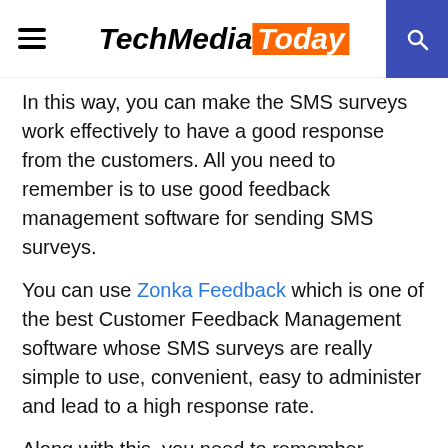TechMediaToday
In this way, you can make the SMS surveys work effectively to have a good response from the customers. All you need to remember is to use good feedback management software for sending SMS surveys.
You can use Zonka Feedback which is one of the best Customer Feedback Management software whose SMS surveys are really simple to use, convenient, easy to administer and lead to a high response rate.
Along with this, you need to remember certain things that you need to avoid to make the